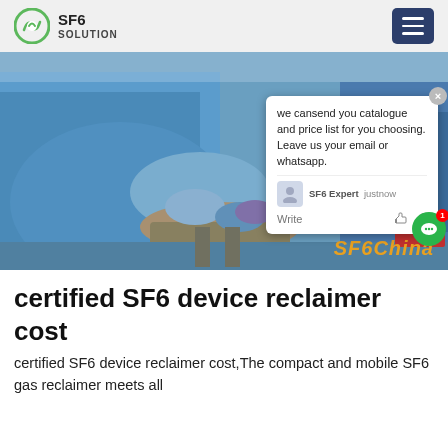SF6 SOLUTION
[Figure (photo): Workers in blue protective suits and gloves working on industrial equipment, with a chat popup overlay showing 'we cansend you catalogue and price list for you choosing. Leave us your email or whatsapp.' and SF6China watermark]
certified SF6 device reclaimer cost
certified SF6 device reclaimer cost,The compact and mobile SF6 gas reclaimer meets all